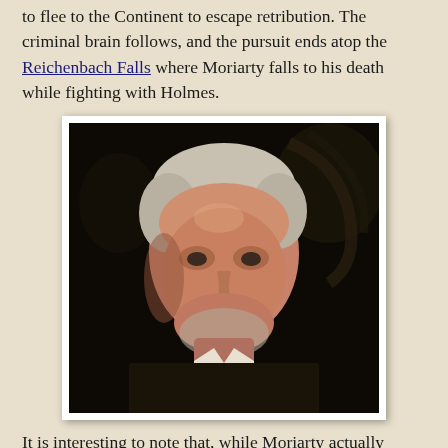to flee to the Continent to escape retribution. The criminal brain follows, and the pursuit ends atop the Reichenbach Falls where Moriarty falls to his death while fighting with Holmes.
[Figure (photo): A painted or stylized portrait photograph of an elderly man with white/grey hair, against a dark ornate background. The man has a solemn expression and is wearing dark formal attire with a white shirt visible at the collar.]
It is interesting to note that, while Moriarty actually appears in only one story, he looms large as Sherlock Holmes's infamous arch-enemy. Most every writer of Holmes pastiches is therefore confronted with the challenge of creating a rival as diabolical as James Moriarty. From the reviews of my recent book, it appears I may have achieved that goal.